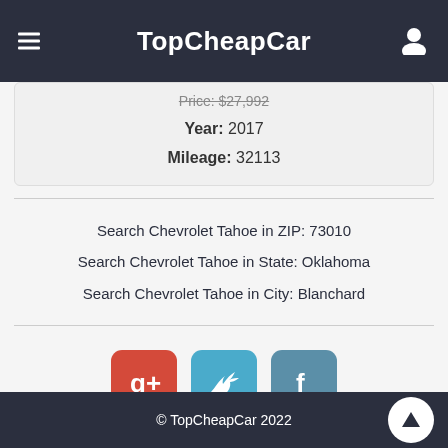TopCheapCar
Price: $27,992
Year: 2017
Mileage: 32113
Search Chevrolet Tahoe in ZIP: 73010
Search Chevrolet Tahoe in State: Oklahoma
Search Chevrolet Tahoe in City: Blanchard
[Figure (infographic): Social share buttons: Google+, Twitter, Facebook]
© TopCheapCar 2022